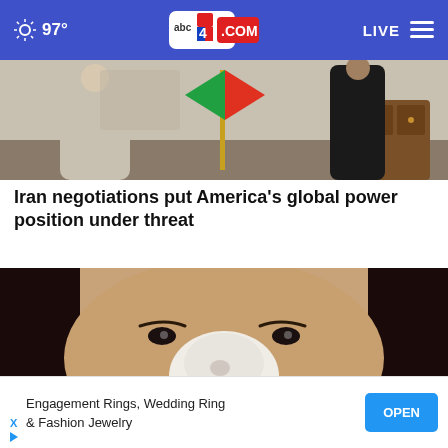97° abc4.com LIVE
[Figure (photo): Photo of two people standing in a room with a flag, one in light clothing and one in dark suit, with a wooden cabinet visible]
Iran negotiations put America's global power position under threat
[Figure (photo): Close-up photo of a woman's face with a white cream/mask substance applied to her nose, holding what appears to be a spoon]
Engagement Rings, Wedding Ring & Fashion Jewelry
OPEN